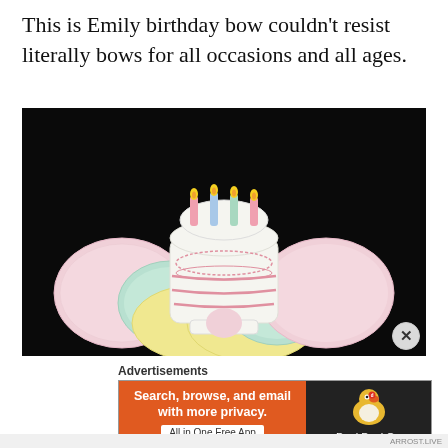This is Emily birthday bow couldn’t resist literally bows for all occasions and all ages.
[Figure (photo): Close-up photo of an embroidered felt birthday cake bow hair clip. The bow has pastel pink, green, and yellow glitter felt loops. In the center is a white embroidered birthday cake with colorful candles (pink, blue, green, yellow) with yellow flames. The background is black.]
Advertisements
[Figure (screenshot): DuckDuckGo advertisement banner. Left side has orange background with text 'Search, browse, and email with more privacy. All in One Free App'. Right side has dark background with DuckDuckGo duck logo and 'DuckDuckGo' text.]